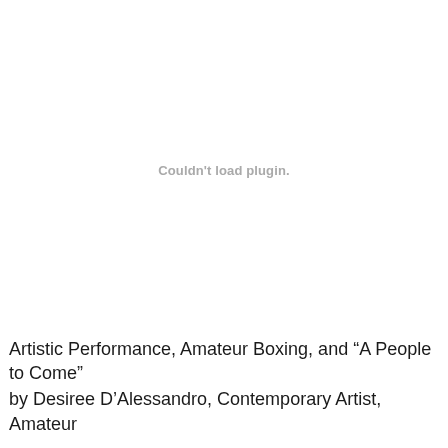[Figure (other): Couldn't load plugin. placeholder area — a plugin or embedded media failed to load, showing a grey error message in the center of a white rectangle.]
Artistic Performance, Amateur Boxing, and “A People to Come”
by Desiree D’Alessandro, Contemporary Artist, Amateur